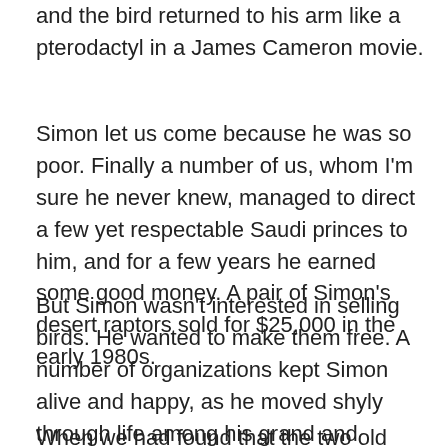and the bird returned to his arm like a pterodactyl in a James Cameron movie.
Simon let us come because he was so poor. Finally a number of us, whom I'm sure he never knew, managed to direct a few yet respectable Saudi princes to him, and for a few years he earned some good money. A pair of Simon's desert raptors sold for $25,000 in the early 1980s.
But Simon wasn't interested in selling birds. He wanted to make them free. A number of organizations kept Simon alive and happy, as he moved shyly through life among his grand and awesome birds.
When we had found that the two old trees old...